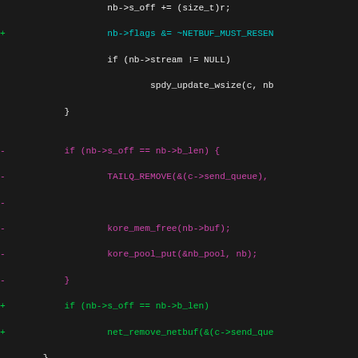[Figure (screenshot): Code diff showing git patch of C source code with additions (green/cyan) and deletions (pink/magenta) on dark background. Shows net_send and net_recv functions being refactored to use net_remove_netbuf instead of manual TAILQ_REMOVE/kore_mem_free/kore_pool_put calls.]